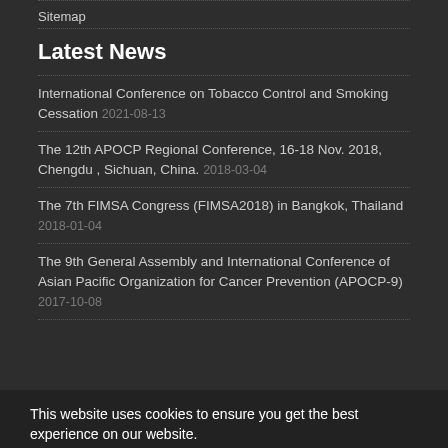Sitemap
Latest News
International Conference on Tobacco Control and Smoking Cessation 2021-08-13
The 12th APOCP Regional Conference, 16-18 Nov. 2018, Chengdu , Sichuan, China. 2018-03-04
The 7th FIMSA Congress (FIMSA2018) in Bangkok, Thailand 2018-01-04
The 9th General Assembly and International Conference of Asian Pacific Organization for Cancer Prevention (APOCP-9) 2017-10-08
This website uses cookies to ensure you get the best experience on our website.
Got it!
Newsletter Subscription
Subscribe to the journal newsletter and receive the latest news and updates